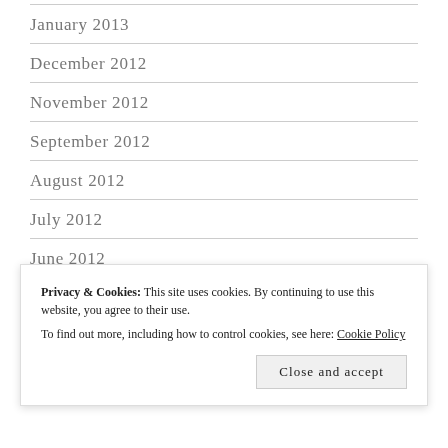January 2013
December 2012
November 2012
September 2012
August 2012
July 2012
June 2012
May 2012
April
Privacy & Cookies: This site uses cookies. By continuing to use this website, you agree to their use.
To find out more, including how to control cookies, see here: Cookie Policy
Close and accept